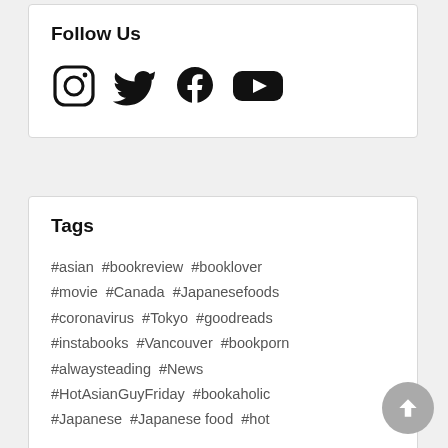Follow Us
[Figure (illustration): Social media icons: Instagram, Twitter, Facebook, YouTube]
Tags
#asian #bookreview #booklover #movie #Canada #Japanesefoods #coronavirus #Tokyo #goodreads #instabooks #Vancouver #bookporn #alwaysteading #News #HotAsianGuyFriday #bookaholic #Japanese #Japanese food #hot